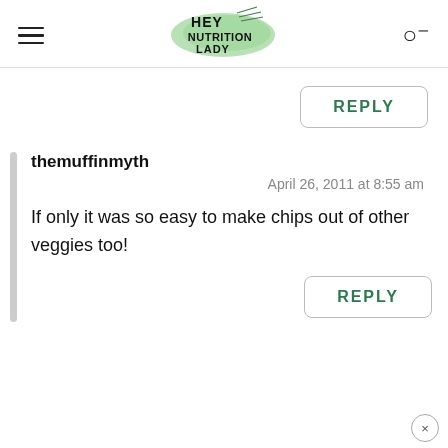[Figure (logo): Hey Nutrition Lady logo with green watercolor background and stylized text]
REPLY
themuffinmyth
April 26, 2011 at 8:55 am
If only it was so easy to make chips out of other veggies too!
REPLY